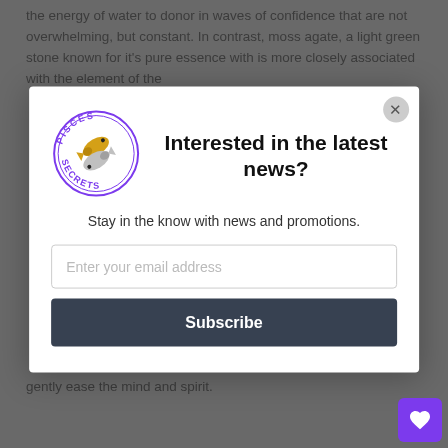the energy of water to donor in waves of confidence that are not overwhelming, but constant. In contrast, moss agate, a light green stone known for it's pure essence with is more closely associated with the element of the
[Figure (logo): Pisces Secrets circular logo with two fish (gold and silver) swimming in a yin-yang pattern, purple text reading PISCES at top and SECRETS at bottom]
Interested in the latest news?
Stay in the know with news and promotions.
Enter your email address
Subscribe
gently ease the mind and spirit.